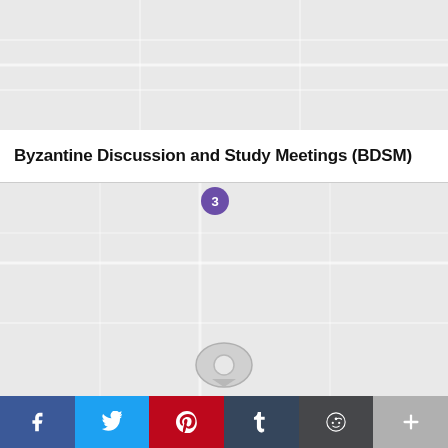[Figure (map): Google Maps style gray map tile (top portion)]
Byzantine Discussion and Study Meetings (BDSM)
[Figure (map): Google Maps style gray map tile (bottom portion) with a purple cluster marker showing '3' and a map location pin]
[Figure (other): Social sharing bar with buttons: Facebook (f), Twitter (bird), Pinterest (P), Tumblr (t), Reddit (alien), and More (+)]